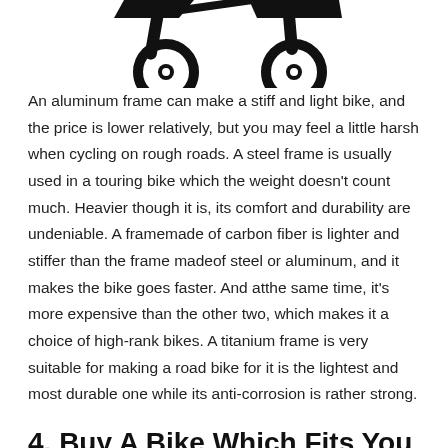[Figure (illustration): Partial silhouette of a bicycle frame/wheel, black on white, cropped at top of page]
An aluminum frame can make a stiff and light bike, and the price is lower relatively, but you may feel a little harsh when cycling on rough roads. A steel frame is usually used in a touring bike which the weight doesn't count much. Heavier though it is, its comfort and durability are undeniable. A framemade of carbon fiber is lighter and stiffer than the frame madeof steel or aluminum, and it makes the bike goes faster. And atthe same time, it's more expensive than the other two, which makes it a choice of high-rank bikes. A titanium frame is very suitable for making a road bike for it is the lightest and most durable one while its anti-corrosion is rather strong.
4. Buy A Bike Which Fits You